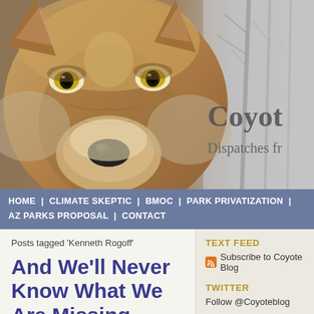[Figure (photo): Close-up photo of a coyote face with yellow eyes, brownish-gray fur, and black nose. To the right, a wintry gray tree background is visible.]
Coyot
Dispatches fr
HOME | CLIMATE SKEPTIC | BMOC | PARK PRIVATIZATION | AZ PARKS PROPOSAL | CONTACT
Posts tagged 'Kenneth Rogoff'
And We'll Never Know What We Are Missing
TEXT FEED
Subscribe to Coyote Blog
TWITTER
Follow @Coyoteblog
CLIMATE SUMMARIES
Denying the Climate Catastrophe